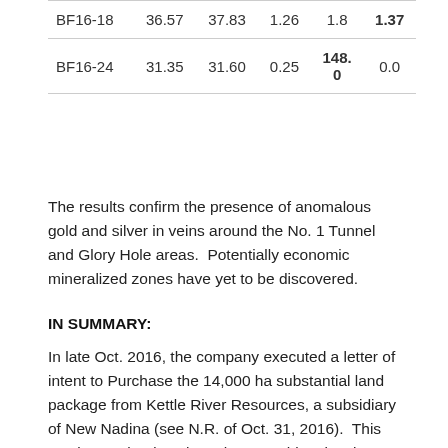| BF16-18 | 36.57 | 37.83 | 1.26 | 1.8 | 1.37 |
| BF16-24 | 31.35 | 31.60 | 0.25 | 148.0 | 0.0 |
The results confirm the presence of anomalous gold and silver in veins around the No. 1 Tunnel and Glory Hole areas.  Potentially economic mineralized zones have yet to be discovered.
IN SUMMARY:
In late Oct. 2016, the company executed a letter of intent to Purchase the 14,000 ha substantial land package from Kettle River Resources, a subsidiary of New Nadina (see N.R. of Oct. 31, 2016).  This contiguous land package hosts 30 historic mines and significant showings, including the famous Phoenix